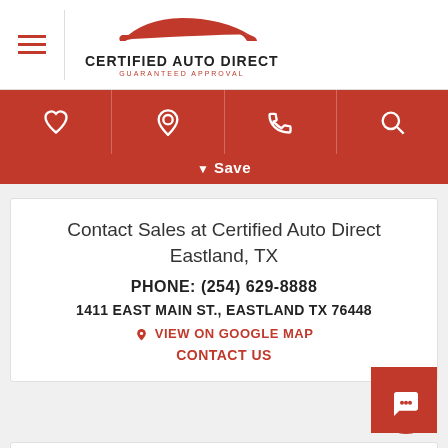CERTIFIED AUTO DIRECT - GUARANTEED APPROVAL
[Figure (logo): Certified Auto Direct logo with red car silhouette and text 'CERTIFIED AUTO DIRECT GUARANTEED APPROVAL']
[Figure (infographic): Red navigation bar with four icons: heart (favorites), location pin, phone, and search]
▼ Save
Contact Sales at Certified Auto Direct Eastland, TX
PHONE: (254) 629-8888
1411 EAST MAIN ST., EASTLAND TX 76448
♦ VIEW ON GOOGLE MAP
CONTACT US
[Figure (logo): AutoCheck logo with blue checkmark and text]